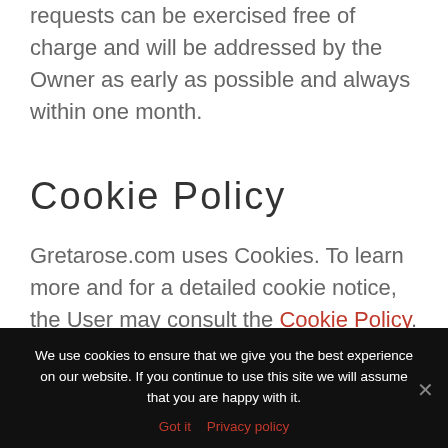requests can be exercised free of charge and will be addressed by the Owner as early as possible and always within one month.
Cookie Policy
Gretarose.com uses Cookies. To learn more and for a detailed cookie notice, the User may consult the Cookie Policy.
Additional information
We use cookies to ensure that we give you the best experience on our website. If you continue to use this site we will assume that you are happy with it.
Got it   Privacy policy